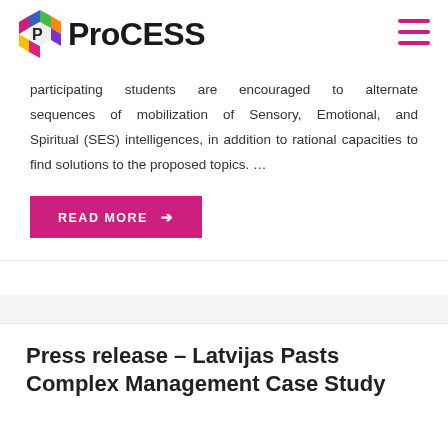ProCESS
participating students are encouraged to alternate sequences of mobilization of Sensory, Emotional, and Spiritual (SES) intelligences, in addition to rational capacities to find solutions to the proposed topics. …
READ MORE →
Press release – Latvijas Pasts Complex Management Case Study
PRESS RELEASE
APRIL 7, 2022